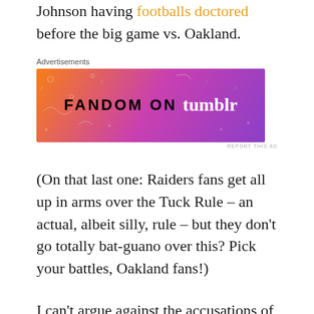Johnson having footballs doctored before the big game vs. Oakland.
[Figure (other): Fandom on Tumblr advertisement banner with orange to purple gradient background and decorative doodles]
(On that last one: Raiders fans get all up in arms over the Tuck Rule – an actual, albeit silly, rule – but they don't go totally bat-guano over this? Pick your battles, Oakland fans!)
I can't argue against the accusations of rampant hypocrisy in the NFL. Linebacker Ray Lewis used a banned substance to help him recover from a